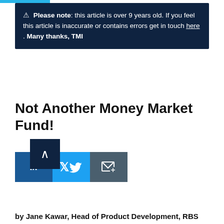⚠ Please note: this article is over 9 years old. If you feel this article is inaccurate or contains errors get in touch here . Many thanks, TMI
Not Another Money Market Fund!
[Figure (other): Social sharing buttons: LinkedIn (dark blue), Twitter (light blue), Email (grey), and a scroll-up arrow button (dark navy)]
by Jane Kawar, Head of Product Development, RBS